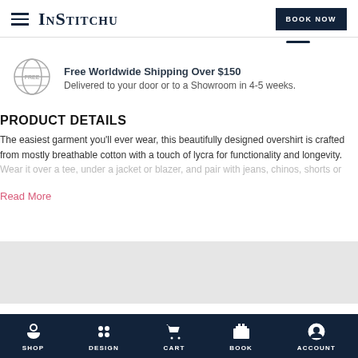InStitchu — BOOK NOW
Free Worldwide Shipping Over $150
Delivered to your door or to a Showroom in 4-5 weeks.
PRODUCT DETAILS
The easiest garment you'll ever wear, this beautifully designed overshirt is crafted from mostly breathable cotton with a touch of lycra for functionality and longevity. Wear it over a tee, under a jacket or blazer, and pair with jeans, chinos, shorts or
Read More
SHOP  DESIGN  CART  BOOK  ACCOUNT